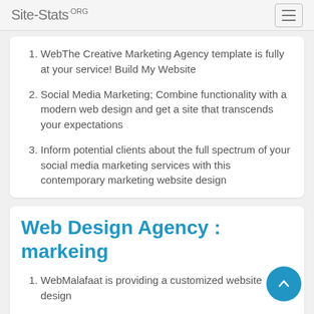Site-Stats.ORG
WebThe Creative Marketing Agency template is fully at your service! Build My Website
Social Media Marketing; Combine functionality with a modern web design and get a site that transcends your expectations
Inform potential clients about the full spectrum of your social media marketing services with this contemporary marketing website design
Web Design Agency : markeing
WebMalafaat is providing a customized website design
with worldwide and testes templates to grand your services online
to be branded without any errors or bugs during your contract with us
we also provide a fully secured services with additional packages